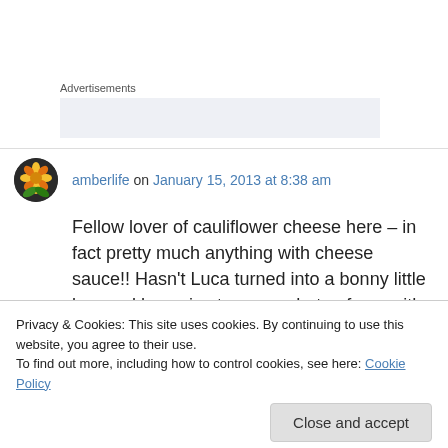Advertisements
[Figure (other): Advertisement placeholder box (light blue-grey rectangle)]
amberlife on January 15, 2013 at 8:38 am
Fellow lover of cauliflower cheese here – in fact pretty much anything with cheese sauce!! Hasn't Luca turned into a bonny little boy and how nice to see a photo of you with him. I was brought up
Privacy & Cookies: This site uses cookies. By continuing to use this website, you agree to their use.
To find out more, including how to control cookies, see here: Cookie Policy
Close and accept